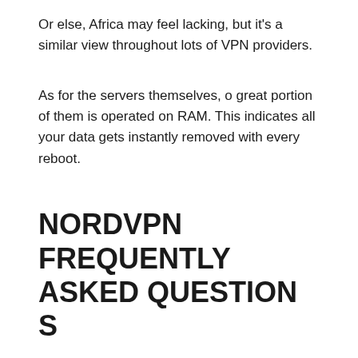Or else, Africa may feel lacking, but it's a similar view throughout lots of VPN providers.
As for the servers themselves, o great portion of them is operated on RAM. This indicates all your data gets instantly removed with every reboot.
NORDVPN FREQUENTLY ASKED QUESTIONS
Is NordVPN trustworthy?
Currently, NordVPN is just one of the most safe costs VPN service providers.